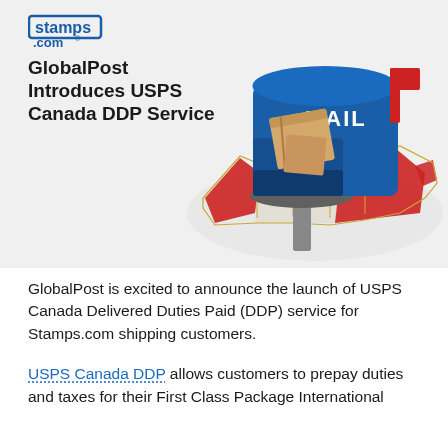[Figure (illustration): Banner image with stamps.com logo in top left, headline 'GlobalPost Introduces USPS Canada DDP Service' in bold black on the left, and a blue mailbox with 'MAIL' text containing packages, placed over a map of Canada in red and white, on a light gray background.]
GlobalPost is excited to announce the launch of USPS Canada Delivered Duties Paid (DDP) service for Stamps.com shipping customers.
USPS Canada DDP allows customers to prepay duties and taxes for their First Class Package International